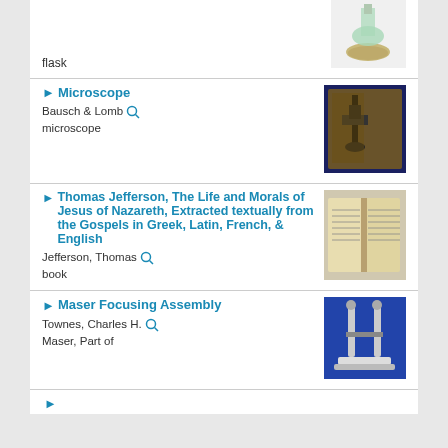flask
[Figure (photo): Glass flask on decorative base]
Microscope
Bausch & Lomb
microscope
[Figure (photo): Bausch & Lomb microscope in wooden case]
Thomas Jefferson, The Life and Morals of Jesus of Nazareth, Extracted textually from the Gospels in Greek, Latin, French, & English
Jefferson, Thomas
book
[Figure (photo): Open antique book]
Maser Focusing Assembly
Townes, Charles H.
Maser, Part of
[Figure (photo): Maser focusing assembly device on blue background]